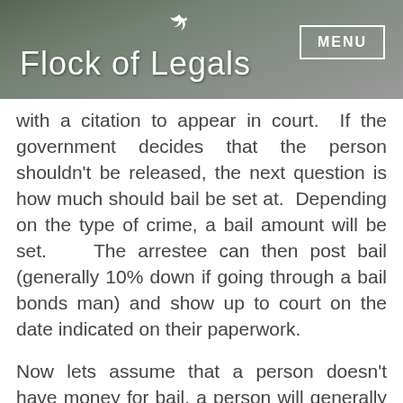Flock of Legals | MENU
with a citation to appear in court. If the government decides that the person shouldn't be released, the next question is how much should bail be set at. Depending on the type of crime, a bail amount will be set. The arrestee can then post bail (generally 10% down if going through a bail bonds man) and show up to court on the date indicated on their paperwork.
Now lets assume that a person doesn't have money for bail, a person will generally have their arraignment within 48 hours. At the arraignment, the defendant's attorney can ask the court to release the defendant on his/her own recognizance (his/her own promise to